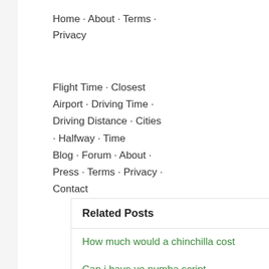Home · About · Terms · Privacy
Flight Time · Closest Airport · Driving Time · Driving Distance · Cities · Halfway · Time Blog · Forum · About · Press · Terms · Privacy · Contact
Related Posts
How much would a chinchilla cost
Can i have yo numba script
How to sharpen your teeth like a vampire